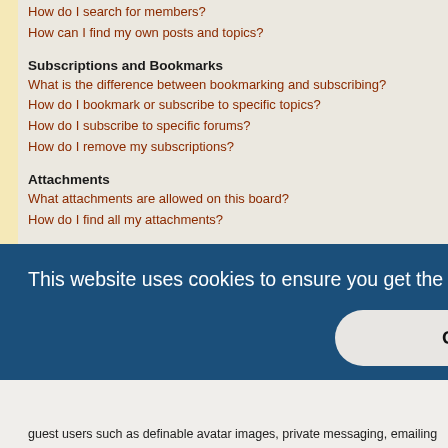How can I find my own posts and topics?
Subscriptions and Bookmarks
What is the difference between bookmarking and subscribing?
How do I bookmark or subscribe to specific topics?
How do I subscribe to specific forums?
How do I remove my subscriptions?
Attachments
What attachments are allowed on this board?
How do I find all my attachments?
phpBB Issues
Who wrote this bulletin board?
Why isn't X feature available?
Who do I contact about abusive and/or legal matters related to this board?
How do I contact a board administrator?
This website uses cookies to ensure you get the best experience on our website. Learn more
Got it!
guest users such as definable avatar images, private messaging, emailing